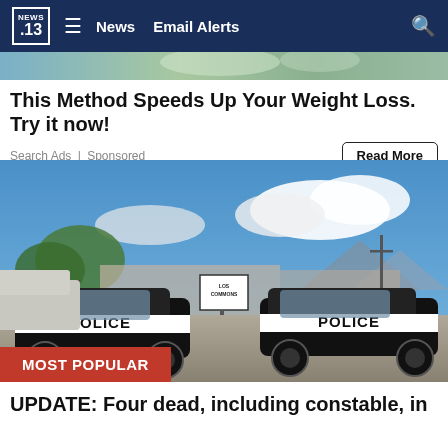NEWS 13 | News | Email Alerts
[Figure (photo): Partial blurred photo visible behind nav bar (green/brown outdoor scene)]
This Method Speeds Up Your Weight Loss. Try it now!
Search Ads | Sponsored
Read More
[Figure (photo): Two black and white police SUVs parked in a lot; a sign reads 'LOS COMMONS'; trees and mountains visible in background under blue sky with clouds. An armored or large white vehicle is visible behind the police cars.]
MOST POPULAR
UPDATE: Four dead, including constable, in